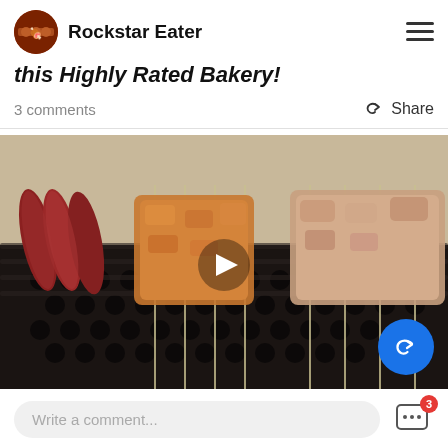Rockstar Eater
this Highly Rated Bakery!
3 comments
Share
[Figure (photo): Grilled meat skewers and sausages on a charcoal grill with a play button overlay indicating a video]
Write a comment...